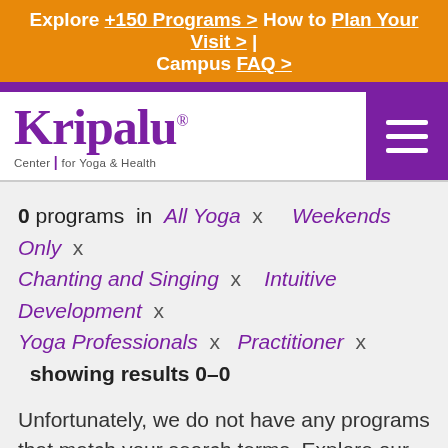Explore +150 Programs > How to Plan Your Visit > | Campus FAQ >
[Figure (logo): Kripalu Center for Yoga & Health logo with purple wordmark and hamburger menu]
0 programs in All Yoga x Weekends Only x Chanting and Singing x Intuitive Development x Yoga Professionals x Practitioner x showing results 0–0
Unfortunately, we do not have any programs that match your search terms. Explore our offerings in Yoga; Ayurveda; Creative Expression; Health, Fitness, and Wellness; Self-